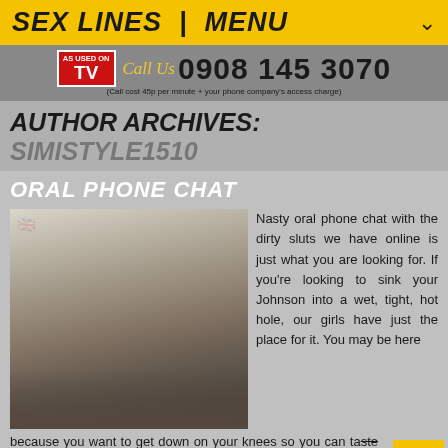SEX LINES | MENU
[Figure (other): Phone banner: AS USED ON TV badge, 'Call Us' script text, phone number 0908 145 3070, call cost note]
AUTHOR ARCHIVES: SIMISTYLE1510
ORAL PHONE CHAT
[Figure (photo): Blonde woman in black top posing indoors, UK flag icon in top left corner]
Nasty oral phone chat with the dirty sluts we have online is just what you are looking for. If you're looking to sink your Johnson into a wet, tight, hot hole, our girls have just the place for it. You may be here because you want to get down on your knees so you can taste the full flavour of hot babe over the phone. While our girls lo...